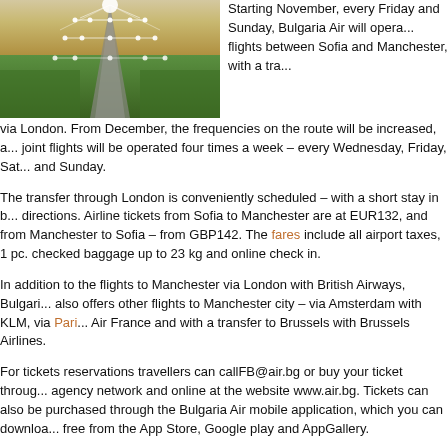[Figure (photo): Aerial view of an airport runway at dusk with runway lights illuminated, surrounded by green fields.]
Starting November, every Friday and Sunday, Bulgaria Air will operate flights between Sofia and Manchester, with a transfer via London. From December, the frequencies on the route will be increased, and joint flights will be operated four times a week – every Wednesday, Friday, Saturday and Sunday.
The transfer through London is conveniently scheduled – with a short stay in both directions. Airline tickets from Sofia to Manchester are at EUR132, and from Manchester to Sofia – from GBP142. The fares include all airport taxes, 1 pc. checked baggage up to 23 kg and online check in.
In addition to the flights to Manchester via London with British Airways, Bulgaria Air also offers other flights to Manchester city – via Amsterdam with KLM, via Paris with Air France and with a transfer to Brussels with Brussels Airlines.
For tickets reservations travellers can call FB@air.bg or buy your ticket through agency network and online at the website www.air.bg. Tickets can also be purchased through the Bulgaria Air mobile application, which you can download free from the App Store, Google play and AppGallery.